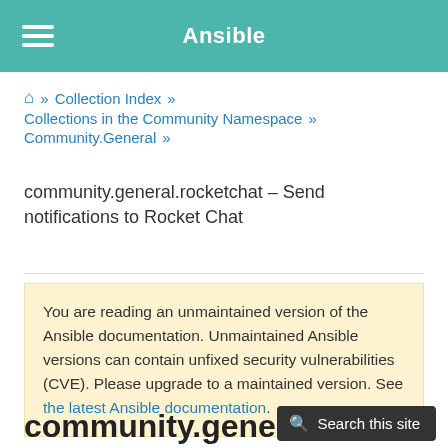Ansible
🏠 » Collection Index » Collections in the Community Namespace » Community.General » community.general.rocketchat – Send notifications to Rocket Chat
community.general.rocketchat – Send notifications to Rocket Chat
You are reading an unmaintained version of the Ansible documentation. Unmaintained Ansible versions can contain unfixed security vulnerabilities (CVE). Please upgrade to a maintained version. See the latest Ansible documentation.
community.general.r…